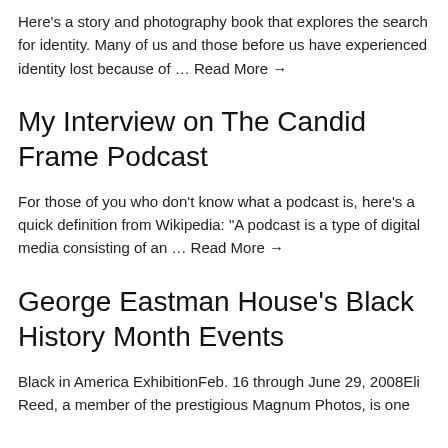Here's a story and photography book that explores the search for identity. Many of us and those before us have experienced identity lost because of … Read More →
My Interview on The Candid Frame Podcast
For those of you who don't know what a podcast is, here's a quick definition from Wikipedia: "A podcast is a type of digital media consisting of an … Read More →
George Eastman House's Black History Month Events
Black in America ExhibitionFeb. 16 through June 29, 2008Eli Reed, a member of the prestigious Magnum Photos, is one